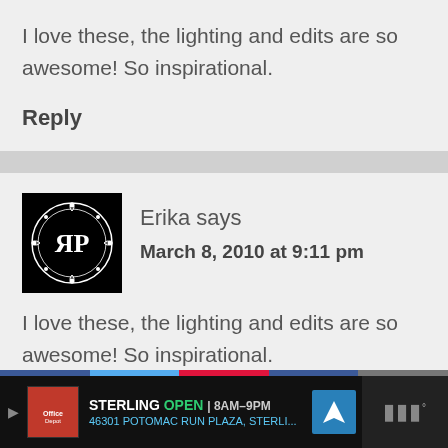I love these, the lighting and edits are so awesome! So inspirational.
Reply
Erika says
March 8, 2010 at 9:11 pm
I love these, the lighting and edits are so awesome! So inspirational.
STERLING  OPEN | 8AM–9PM  46301 POTOMAC RUN PLAZA, STERLI...